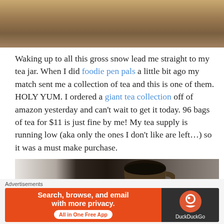[Figure (photo): Close-up photo of a baked/pastry item, partially cropped, brown tones]
Waking up to all this gross snow lead me straight to my tea jar. When I did foodie pen pals a little bit ago my match sent me a collection of tea and this is one of them. HOLY YUM. I ordered a giant tea collection off of amazon yesterday and can't wait to get it today. 96 bags of tea for $11 is just fine by me! My tea supply is running low (aka only the ones I don't like are left...) so it was a must make purchase.
[Figure (photo): Photo of a dark ceramic mug with tea on a keyboard, with cables visible]
Advertisements
[Figure (screenshot): DuckDuckGo advertisement banner: Search, browse, and email with more privacy. All in One Free App]